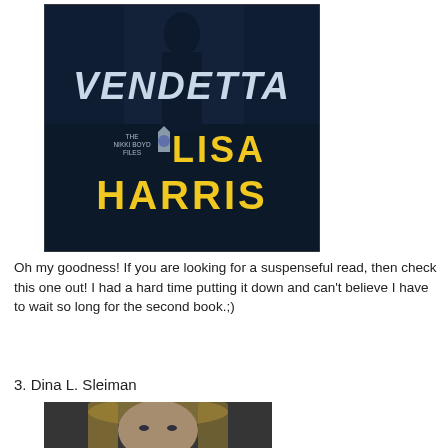[Figure (photo): Book cover of 'Vendetta' by Lisa Harris, part of The Nikki Boyd Files series. Dark background with a figure, large white text 'VENDETTA' at top, yellow text 'LISA HARRIS' below, and a police badge logo.]
Oh my goodness! If you are looking for a suspenseful read, then check this one out! I had a hard time putting it down and can't believe I have to wait so long for the second book.;)
3. Dina L. Sleiman
[Figure (photo): Photo of a blonde woman looking directly at the camera with a serious expression.]